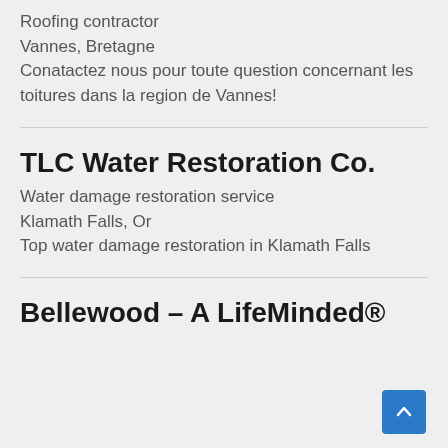Roofing contractor
Vannes, Bretagne
Conatactez nous pour toute question concernant les toitures dans la region de Vannes!
TLC Water Restoration Co.
Water damage restoration service
Klamath Falls, Or
Top water damage restoration in Klamath Falls
Bellewood – A LifeMinded® Resi...